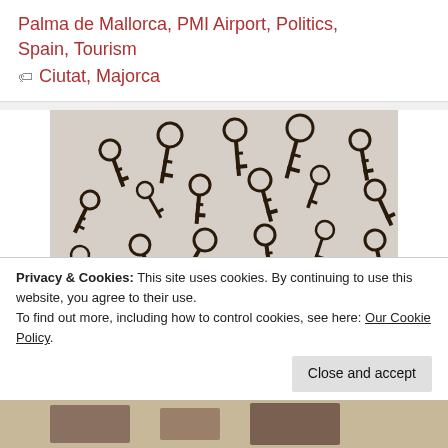Palma de Mallorca, PMI Airport, Politics, Spain, Tourism
Ciutat, Majorca
[Figure (photo): A collection of many antique skeleton keys of various sizes arranged on a light background, photographed from above in black and white tones.]
Privacy & Cookies: This site uses cookies. By continuing to use this website, you agree to their use.
To find out more, including how to control cookies, see here: Our Cookie Policy.
Close and accept